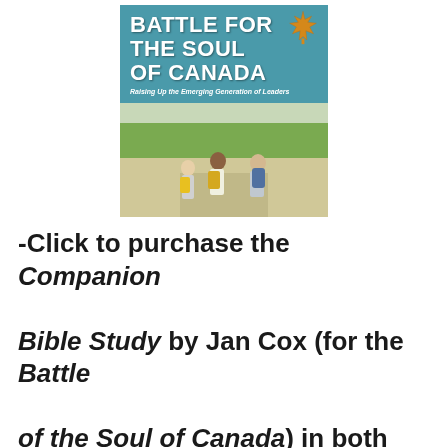[Figure (illustration): Book cover of 'Battle for the Soul of Canada: Raising Up the Emerging Generation of Leaders' by Ed Hird, Foreword by Dr. J.I. Packer. Cover shows teal background with bold white title text, a maple leaf, and photo of three young people walking with backpacks.]
-Click to purchase the Companion Bible Study by Jan Cox (for the Battle of the Soul of Canada) in both